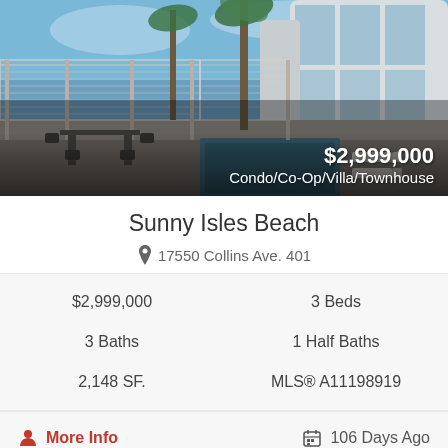[Figure (photo): Exterior pool and pergola area of a luxury condo building with palm trees and modern architecture]
Sunny Isles Beach
17550 Collins Ave. 401
| $2,999,000 | 3 Beds |
| 3 Baths | 1 Half Baths |
| 2,148 SF. | MLS® A11198919 |
More Info
106 Days Ago